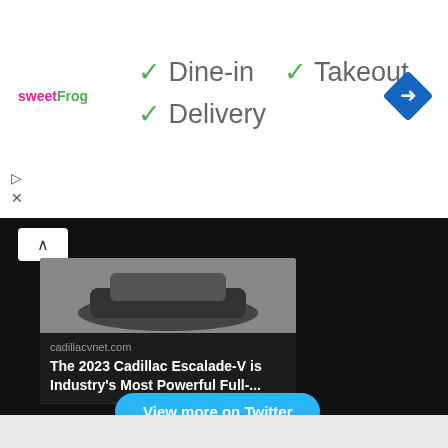[Figure (screenshot): Top ad banner for sweetFrog with checkmarks for Dine-in, Takeout, Delivery options and a navigation arrow icon]
[Figure (screenshot): Dark social media section showing a Cadillac Escalade-V article card from cadillacvnet.com with interaction icons and a 'View more on Twitter' button, plus infolinks bar and bottom ad banner repeating sweetFrog ad]